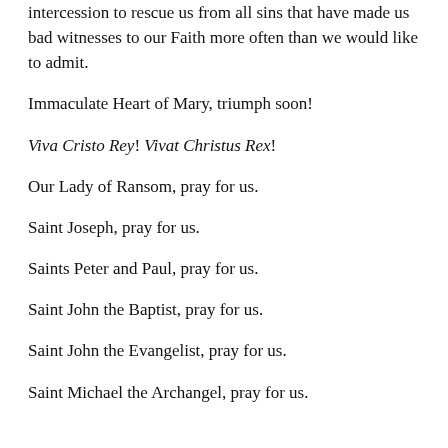intercession to rescue us from all sins that have made us bad witnesses to our Faith more often than we would like to admit.
Immaculate Heart of Mary, triumph soon!
Viva Cristo Rey! Vivat Christus Rex!
Our Lady of Ransom, pray for us.
Saint Joseph, pray for us.
Saints Peter and Paul, pray for us.
Saint John the Baptist, pray for us.
Saint John the Evangelist, pray for us.
Saint Michael the Archangel, pray for us.